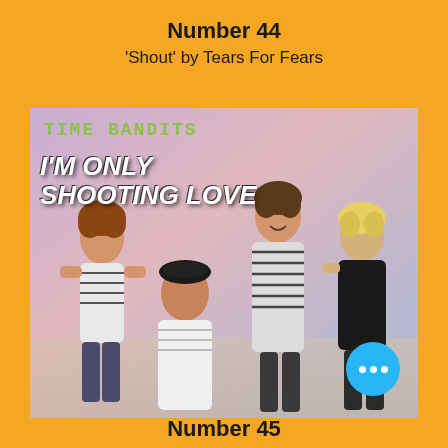Number 44
'Shout' by Tears For Fears
[Figure (photo): Album cover for Time Bandits - 'I'm Only Shooting Love', showing four young men in 1980s style clothing posing together against a colorful background.]
Number 45